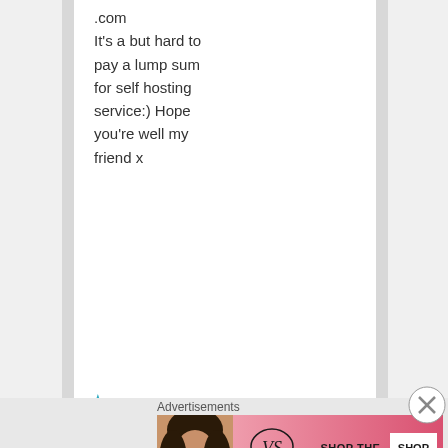.com
It's a but hard to pay a lump sum for self hosting service:) Hope you're well my friend x
★ Liked by 1 person
luckyotter on April 28, 2016 at 2:23
Advertisements
[Figure (photo): Victoria's Secret advertisement banner: woman with curly hair on left, VS logo, text SHOP THE COLLECTION, SHOP NOW button on right, pink background]